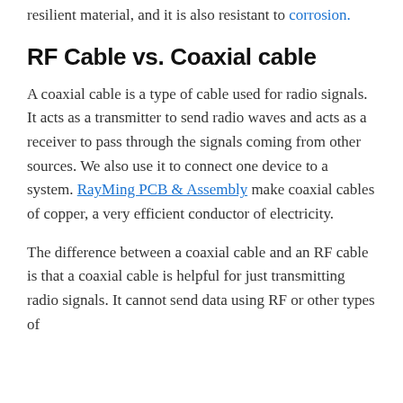resilient material, and it is also resistant to corrosion.
RF Cable vs. Coaxial cable
A coaxial cable is a type of cable used for radio signals. It acts as a transmitter to send radio waves and acts as a receiver to pass through the signals coming from other sources. We also use it to connect one device to a system. RayMing PCB & Assembly make coaxial cables of copper, a very efficient conductor of electricity.
The difference between a coaxial cable and an RF cable is that a coaxial cable is helpful for just transmitting radio signals. It cannot send data using RF or other types of